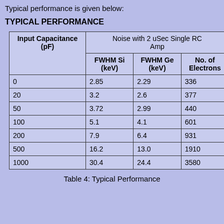Typical performance is given below:
TYPICAL PERFORMANCE
| Input Capacitance (pF) | Noise with 2 uSec Single RC Amp – FWHM Si (keV) | Noise with 2 uSec Single RC Amp – FWHM Ge (keV) | Noise with 2 uSec Single RC Amp – No. of Electrons |
| --- | --- | --- | --- |
| 0 | 2.85 | 2.29 | 336 |
| 20 | 3.2 | 2.6 | 377 |
| 50 | 3.72 | 2.99 | 440 |
| 100 | 5.1 | 4.1 | 601 |
| 200 | 7.9 | 6.4 | 931 |
| 500 | 16.2 | 13.0 | 1910 |
| 1000 | 30.4 | 24.4 | 3580 |
Table 4: Typical Performance